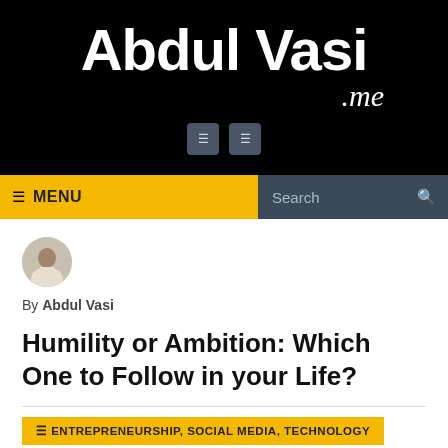[Figure (logo): Abdul Vasi .me logo in white text on black background]
☰ MENU   Search
[Figure (photo): Circular avatar photo of Abdul Vasi]
By Abdul Vasi
Humility or Ambition: Which One to Follow in your Life?
☰ ENTREPRENEURSHIP, SOCIAL MEDIA, TECHNOLOGY